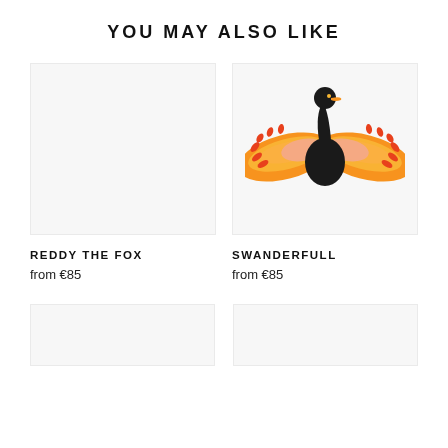YOU MAY ALSO LIKE
[Figure (illustration): Empty light gray product image placeholder for Reddy The Fox]
REDDY THE FOX
from €85
[Figure (illustration): Illustration of a black swan with colorful orange and yellow spread wings (Swanderfull product image)]
SWANDERFULL
from €85
[Figure (illustration): Empty light gray product image placeholder (bottom left, partially visible)]
[Figure (illustration): Empty light gray product image placeholder (bottom right, partially visible)]